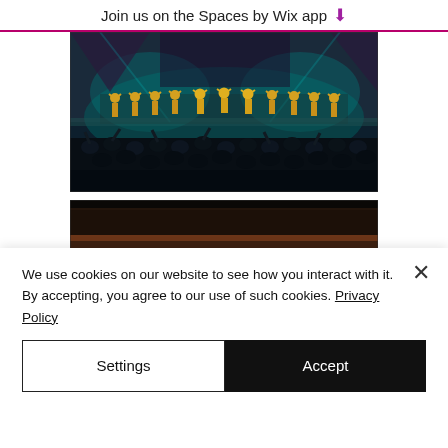Join us on the Spaces by Wix app ⬇
[Figure (photo): Concert stage scene with performers in gold costumes taking a bow with hands raised, crowd in foreground, teal/blue stage lighting]
[Figure (photo): Close-up of a dark interior architectural detail with red and brown tones, reflective surfaces]
We use cookies on our website to see how you interact with it. By accepting, you agree to our use of such cookies. Privacy Policy
Settings
Accept